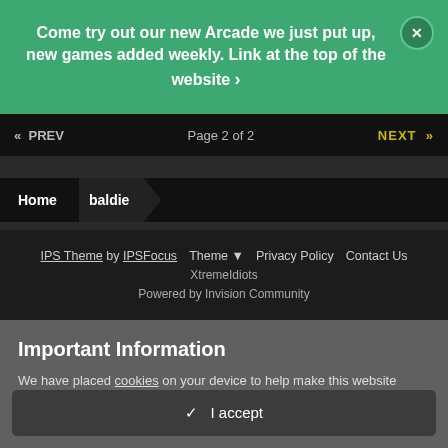Come try out our new Arcade we just put up, new games added weekly. Link at the top of the website
« PREV   Page 2 of 2   NEXT »
Home > baldie
IPS Theme by IPSFocus  Theme▼  Privacy Policy  Contact Us
XtremeIdiots
Powered by Invision Community
Important Information
We have placed cookies on your device to help make this website better. You can adjust your cookie settings, otherwise we'll assume you're okay to continue.
✓  I accept